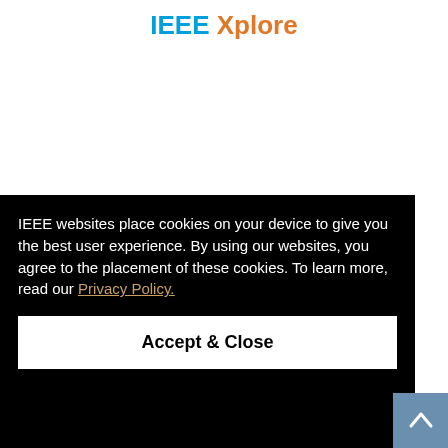[Figure (logo): IEEE logo with blue and orange text at top of page]
IEEE websites place cookies on your device to give you the best user experience. By using our websites, you agree to the placement of these cookies. To learn more, read our Privacy Policy.
Accept & Close